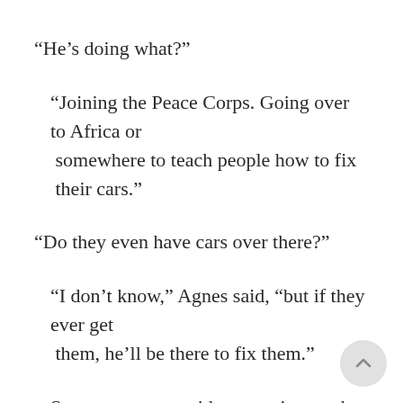“He’s doing what?”
“Joining the Peace Corps. Going over to Africa or somewhere to teach people how to fix their cars.”
“Do they even have cars over there?”
“I don’t know,” Agnes said, “but if they ever get them, he’ll be there to fix them.”
Someone was outside, stomping up the back steps, shaking off water. And then the back door swung open and it was Leonard, bringing the